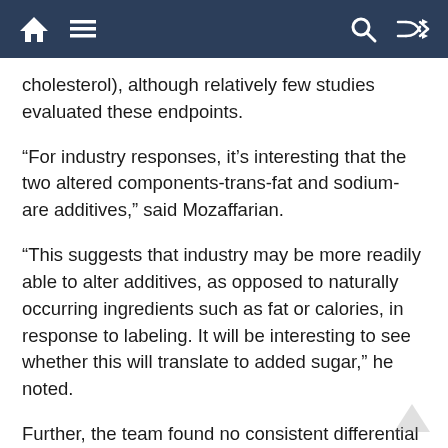Navigation bar with home, menu, search, and shuffle icons
cholesterol), although relatively few studies evaluated these endpoints.
“For industry responses, it’s interesting that the two altered components-trans-fat and sodium-are additives,” said Mozaffarian.
“This suggests that industry may be more readily able to alter additives, as opposed to naturally occurring ingredients such as fat or calories, in response to labeling. It will be interesting to see whether this will translate to added sugar,” he noted.
Further, the team found no consistent differential effects by label placements (menu, package, other point-of-purchase), label types (e.g. nutrient content), suggesting information may be more relevant to consumers.